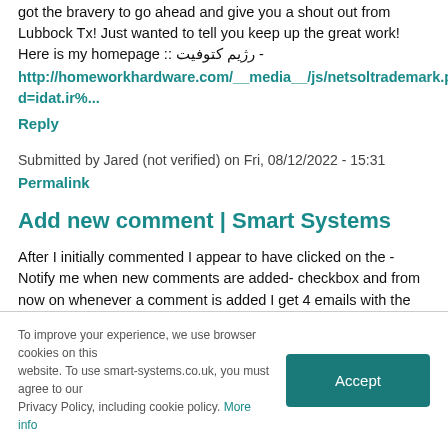got the bravery to go ahead and give you a shout out from Lubbock Tx! Just wanted to tell you keep up the great work! Here is my homepage :: رژیم کتوفیت - http://homeworkhardware.com/__media__/js/netsoltrademark.pd=idat.ir%...
Reply
Submitted by Jared (not verified) on Fri, 08/12/2022 - 15:31
Permalink
Add new comment | Smart Systems
After I initially commented I appear to have clicked on the -Notify me when new comments are added- checkbox and from now on whenever a comment is added I get 4 emails with the exact same comment. Perhaps there is an easy method you can
To improve your experience, we use browser cookies on this website. To use smart-systems.co.uk, you must agree to our Privacy Policy, including cookie policy. More info  Accept